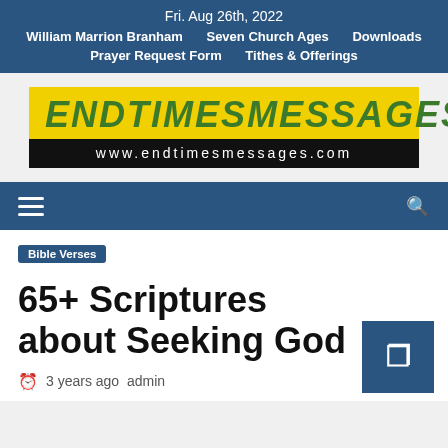Fri. Aug 26th, 2022 | William Marrion Branham | Seven Church Ages | Downloads | Prayer Request Form | Tithes & Offerings
[Figure (logo): EndTimesMessages logo: yellow background with green italic text 'ENDTIMESMESSAGES' and black bar below with white text 'www.endtimesmessages.com']
[Figure (screenshot): Navigation menu bar with hamburger icon on the left and search icon on the right, blue background]
Bible Verses
65+ Scriptures about Seeking God
3 years ago  admin